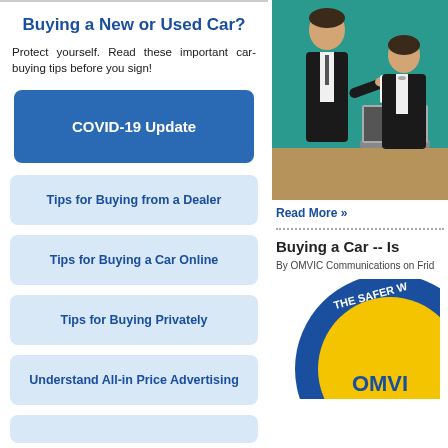Buying a New or Used Car?
Protect yourself. Read these important car-buying tips before you sign!
COVID-19 Update
Tips for Buying from a Dealer
Tips for Buying a Car Online
Tips for Buying Privately
Understand All-in Price Advertising
[Figure (illustration): Illustration of two business people at a desk, one handing a document to the other, with a laptop on the desk. Teal background.]
Read More »
Buying a Car -- Is
By OMVIC Communications on Frid
[Figure (logo): Circular badge with blue and yellow/gold colors reading 'THE SAFER W' and 'OMVI' visible, partial OMVIC logo.]